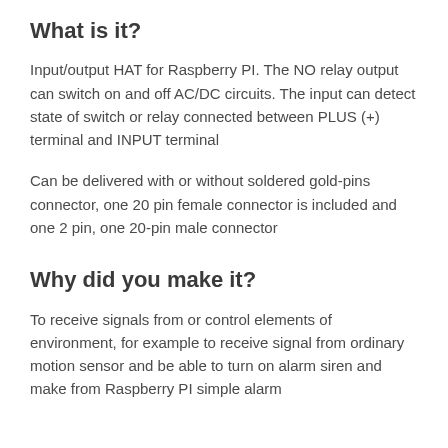What is it?
Input/output HAT for Raspberry PI. The NO relay output can switch on and off AC/DC circuits. The input can detect state of switch or relay connected between PLUS (+) terminal and INPUT terminal
Can be delivered with or without soldered gold-pins connector, one 20 pin female connector is included and one 2 pin, one 20-pin male connector
Why did you make it?
To receive signals from or control elements of environment, for example to receive signal from ordinary motion sensor and be able to turn on alarm siren and make from Raspberry PI simple alarm